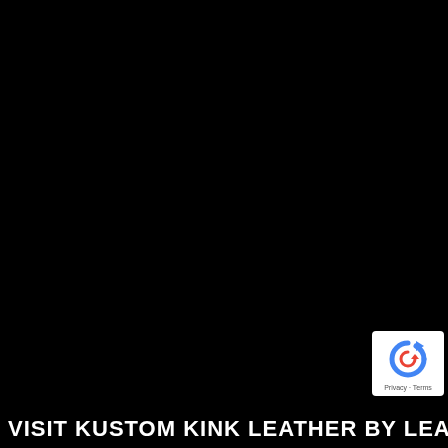[Figure (photo): Mostly black/dark image background, appears to be a very dark or night scene, nearly entirely black.]
[Figure (logo): Google reCAPTCHA badge in the bottom-right corner: circular arrow logo in blue on white background with 'Privacy · Terms' text below.]
VISIT KUSTOM KINK LEATHER BY LEATHERMAN